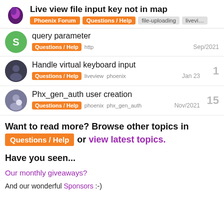Live view file input key not in map
query parameter
Questions / Help  http  Sep/2021
Handle virtual keyboard input  1  Questions / Help  liveview  phoenix  Jan 23
Phx_gen_auth user creation  15  Questions / Help  phoenix  phx_gen_auth  Nov/2021
Want to read more? Browse other topics in Questions / Help or view latest topics.
Have you seen...
Our monthly giveaways?
And our wonderful Sponsors :-)